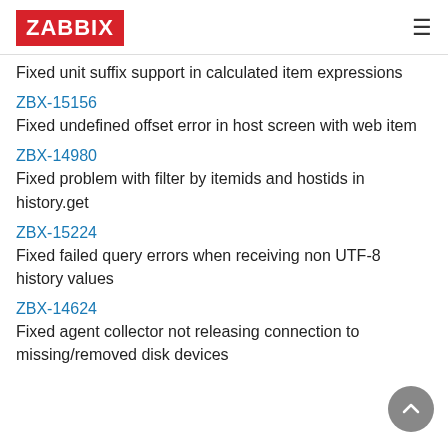ZABBIX
Fixed unit suffix support in calculated item expressions
ZBX-15156
Fixed undefined offset error in host screen with web item
ZBX-14980
Fixed problem with filter by itemids and hostids in history.get
ZBX-15224
Fixed failed query errors when receiving non UTF-8 history values
ZBX-14624
Fixed agent collector not releasing connection to missing/removed disk devices